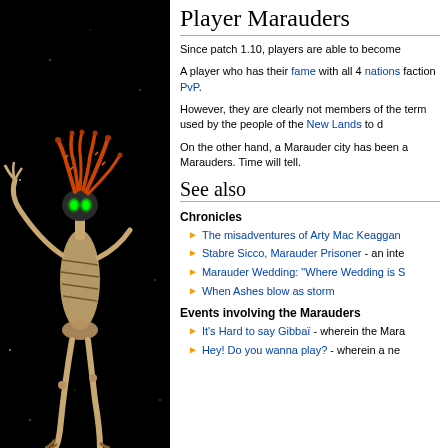[Figure (illustration): A stylized alien/creature character with glowing green eyes, orange tentacle-like head appendages, and a bony skeletal body, shown against a black starfield background.]
Player Marauders
Since patch 1.10, players are able to become
A player who has their fame with all 4 nations faction PvP.
However, they are clearly not members of the term used by the people of the New Lands to d
On the other hand, a Marauder city has been a Marauders. Time will tell.
See also
Chronicles
The misadventures of Arty Mac Keaggan
Stabre Sicco, Marauder Prisoner - an inte
Marauder Wedding: "Where Wedding is S
When Ashes blow as storm
Events involving the Marauders
It's Hard to say Gibbaï - wherein the Mara
Hey! Do you wanna play? - wherein a ne